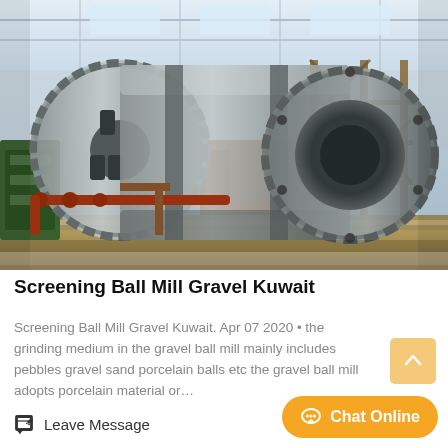[Figure (photo): Industrial ball mill machinery inside a large factory/warehouse. Large cylindrical rotating drum mill with rust-colored metal support frames, pipes, and scaffolding in a high-ceiling industrial building.]
Screening Ball Mill Gravel Kuwait
Screening Ball Mill Gravel Kuwait. Apr 07 2020 • the grinding medium in the gravel ball mill mainly includes pebbles gravel sand porcelain balls etc the gravel ball mill adopts porcelain material or…
Leave Message
Chat Online